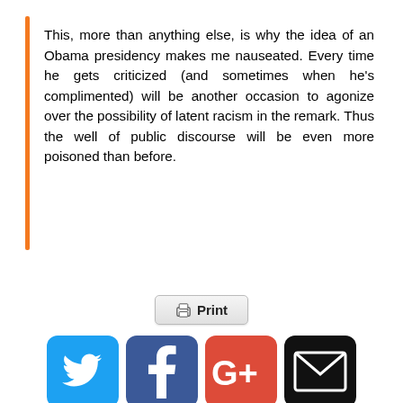This, more than anything else, is why the idea of an Obama presidency makes me nauseated. Every time he gets criticized (and sometimes when he's complimented) will be another occasion to agonize over the possibility of latent racism in the remark. Thus the well of public discourse will be even more poisoned than before.
[Figure (other): Print button and social media share icons: Twitter (blue bird), Facebook (blue f), Google+ (orange G+), Email (black envelope)]